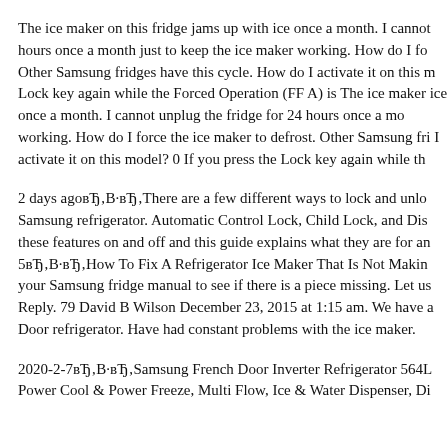The ice maker on this fridge jams up with ice once a month. I cannot hours once a month just to keep the ice maker working. How do I fo Other Samsung fridges have this cycle. How do I activate it on this m Lock key again while the Forced Operation (FF A) is The ice maker ice once a month. I cannot unplug the fridge for 24 hours once a mo working. How do I force the ice maker to defrost. Other Samsung fri I activate it on this model? 0 If you press the Lock key again while th
2 days agoвЂ‚В·вЂ‚There are a few different ways to lock and unlo Samsung refrigerator. Automatic Control Lock, Child Lock, and Dis these features on and off and this guide explains what they are for an 5вЂ‚В·вЂ‚How To Fix A Refrigerator Ice Maker That Is Not Makin your Samsung fridge manual to see if there is a piece missing. Let us Reply. 79 David B Wilson December 23, 2015 at 1:15 am. We have a Door refrigerator. Have had constant problems with the ice maker.
2020-2-7вЂ‚В·вЂ‚Samsung French Door Inverter Refrigerator 564L Power Cool & Power Freeze, Multi Flow, Ice & Water Dispenser, Di